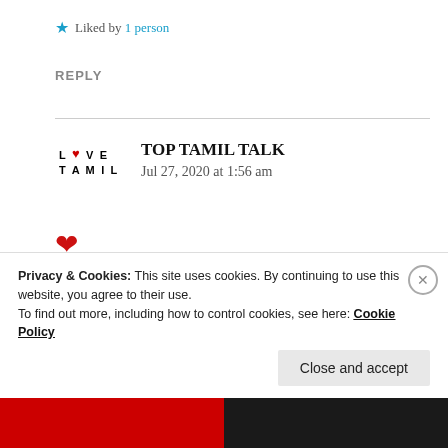★ Liked by 1 person
REPLY
TOP TAMIL TALK
Jul 27, 2020 at 1:56 am
[Figure (illustration): Red heart emoji as a comment body]
Privacy & Cookies: This site uses cookies. By continuing to use this website, you agree to their use.
To find out more, including how to control cookies, see here: Cookie Policy
Close and accept